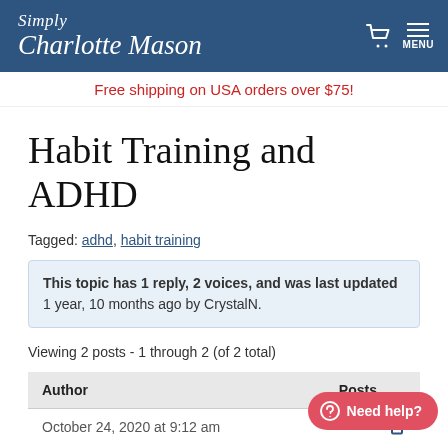Simply Charlotte Mason
Free shipping on USA orders over $75!
Habit Training and ADHD
Tagged: adhd, habit training
This topic has 1 reply, 2 voices, and was last updated 1 year, 10 months ago by CrystalN.
Viewing 2 posts - 1 through 2 (of 2 total)
| Author | Posts |
| --- | --- |
| October 24, 2020 at 9:12 am |  |